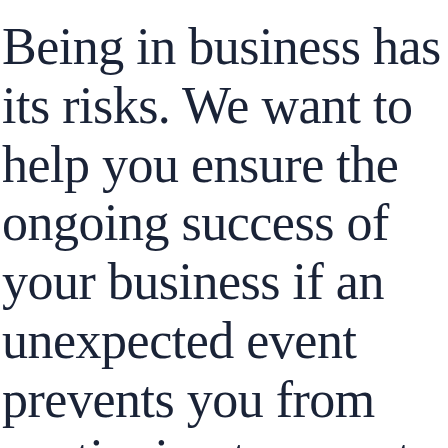Being in business has its risks. We want to help you ensure the ongoing success of your business if an unexpected event prevents you from continuing to operate